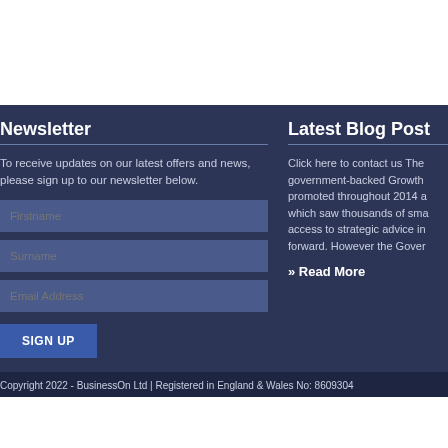Newsletter
To receive updates on our latest offers and news, please sign up to our newsletter below.
Latest Blog Post
Click here to contact us The government-backed Growth promoted throughout 2014 a which saw thousands of sma access to strategic advice in forward. However the Gover
» Read More
Copyright 2022 - BusinessOn Ltd | Registered in England & Wales No: 8609304